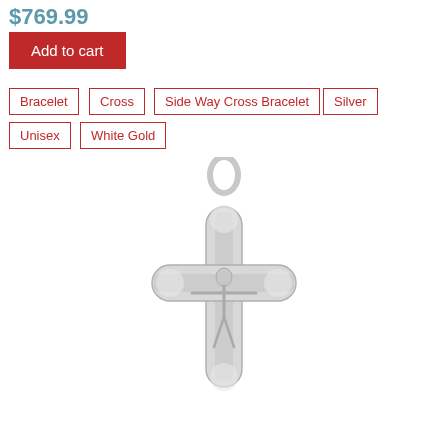$769.99
Add to cart
Bracelet
Cross
Side Way Cross Bracelet
Silver
Unisex
White Gold
[Figure (photo): Silver crucifix cross pendant with a bail/loop at top, featuring Jesus figure on the cross, smooth rounded arm ends with textured inlay panels, white/silver gold finish]